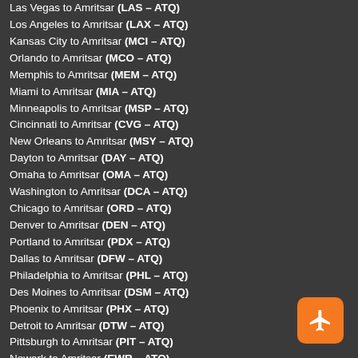Las Vegas to Amritsar (LAS – ATQ)
Los Angeles to Amritsar (LAX – ATQ)
Kansas City to Amritsar (MCI – ATQ)
Orlando to Amritsar (MCO – ATQ)
Memphis to Amritsar (MEM – ATQ)
Miami to Amritsar (MIA – ATQ)
Minneapolis to Amritsar (MSP – ATQ)
Cincinnati to Amritsar (CVG – ATQ)
New Orleans to Amritsar (MSY – ATQ)
Dayton to Amritsar (DAY – ATQ)
Omaha to Amritsar (OMA – ATQ)
Washington to Amritsar (DCA – ATQ)
Chicago to Amritsar (ORD – ATQ)
Denver to Amritsar (DEN – ATQ)
Portland to Amritsar (PDX – ATQ)
Dallas to Amritsar (DFW – ATQ)
Philadelphia to Amritsar (PHL – ATQ)
Des Moines to Amritsar (DSM – ATQ)
Phoenix to Amritsar (PHX – ATQ)
Detroit to Amritsar (DTW – ATQ)
Pittsburgh to Amritsar (PIT – ATQ)
Newark to Amritsar (EWR – ATQ)
Raleigh/Durham to Amritsar (RDU – ATQ)